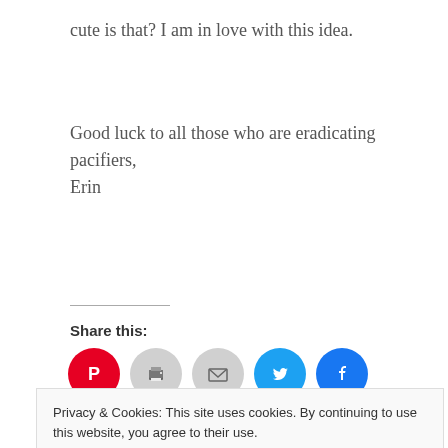cute is that?  I am in love with this idea.
Good luck to all those who are eradicating pacifiers,
Erin
Share this:
[Figure (infographic): Social share icons: Pinterest (red), Print (gray), Email (gray), Twitter (blue), Facebook (blue)]
[Figure (infographic): Like button with star icon and two avatar thumbnails]
Privacy & Cookies: This site uses cookies. By continuing to use this website, you agree to their use.
To find out more, including how to control cookies, see here: Cookie Policy
Close and accept
Hip Hop it's Books about